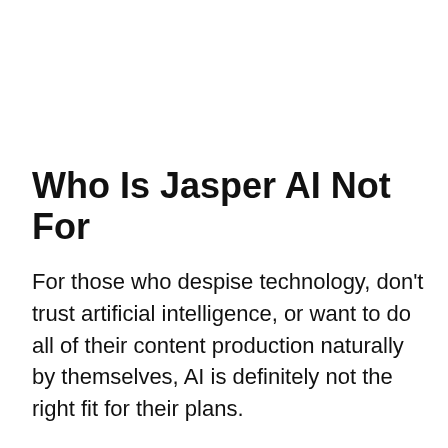Who Is Jasper AI Not For
For those who despise technology, don’t trust artificial intelligence, or want to do all of their content production naturally by themselves, AI is definitely not the right fit for their plans.
For people who are looking to push out high-